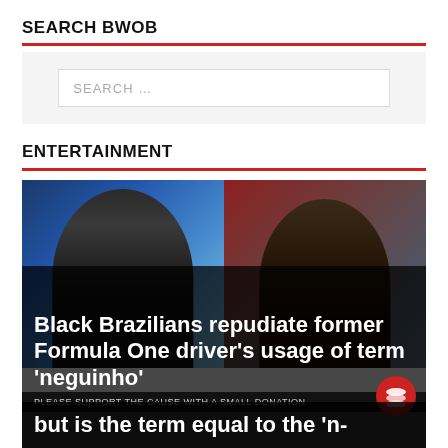SEARCH BWOB
[Figure (screenshot): Search box widget with placeholder text SEARCH ...]
ENTERTAINMENT
[Figure (photo): Two men side by side, one lighter-skinned on the left against a blue background, one darker-skinned on the right against a reddish background, with a dark overlay and headline text overlay reading: Black Brazilians repudiate former Formula One driver's usage of term 'neguinho' but is the term equal to the 'n-]
Black Brazilians repudiate former Formula One driver's usage of term ‘neguinho’
PLEASE SUPPORT THE CAUSE WITH A SMALL DONATION
but is the term equal to the ‘n-